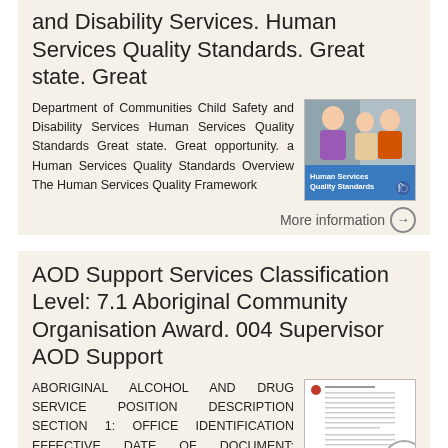and Disability Services. Human Services Quality Standards. Great state. Great
Department of Communities Child Safety and Disability Services Human Services Quality Standards Great state. Great opportunity. a Human Services Quality Standards Overview The Human Services Quality Framework
[Figure (photo): Thumbnail cover image of Human Services Quality Standards document showing two people and blue banner with text 'Human Services Quality Standards']
More information →
AOD Support Services Classification Level: 7.1 Aboriginal Community Organisation Award. 004 Supervisor AOD Support
ABORIGINAL ALCOHOL AND DRUG SERVICE POSITION DESCRIPTION SECTION 1: OFFICE IDENTIFICATION EFFECTIVE DATE OF DOCUMENT: SEPTEMBER 2012 Position Description Number: 006 Job Title: AOD
[Figure (photo): Thumbnail of Aboriginal Alcohol and Drug Service position description document with red dot and form lines, with a scroll-to-top button overlaid]